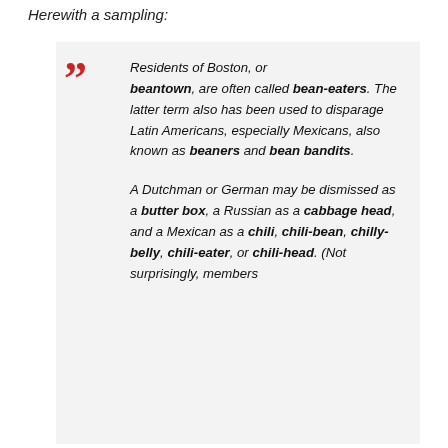Herewith a sampling:
Residents of Boston, or beantown, are often called bean-eaters. The latter term also has been used to disparage Latin Americans, especially Mexicans, also known as beaners and bean bandits.

A Dutchman or German may be dismissed as a butter box, a Russian as a cabbage head, and a Mexican as a chili, chili-bean, chilly-belly, chili-eater, or chili-head. (Not surprisingly, members